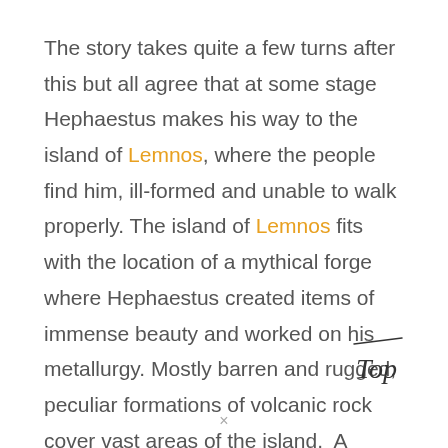The story takes quite a few turns after this but all agree that at some stage Hephaestus makes his way to the island of Lemnos, where the people find him, ill-formed and unable to walk properly. The island of Lemnos fits with the location of a mythical forge where Hephaestus created items of immense beauty and worked on his metallurgy. Mostly barren and rugged, peculiar formations of volcanic rock cover vast areas of the island.  A miniature desert can also be found...
[Figure (illustration): Handwritten cursive 'Top' with a line above it, appearing as a decorative logo or navigation element]